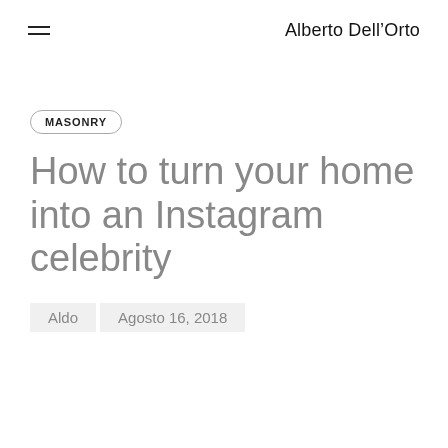Alberto Dell'Orto
MASONRY
How to turn your home into an Instagram celebrity
Aldo  Agosto 16, 2018